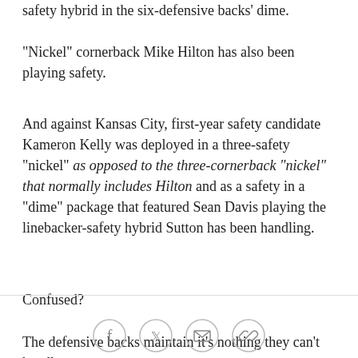safety hybrid in the six-defensive backs' dime.
"Nickel" cornerback Mike Hilton has also been playing safety.
And against Kansas City, first-year safety candidate Kameron Kelly was deployed in a three-safety "nickel" as opposed to the three-cornerback "nickel" that normally includes Hilton and as a safety in a "dime" package that featured Sean Davis playing the linebacker-safety hybrid Sutton has been handling.
Confused?
The defensive backs maintain it's nothing they can't handle.
"Not at all," Hilton said. "We ask each other questions.
[Figure (other): Social sharing icons: Facebook, Twitter, Email, Link]